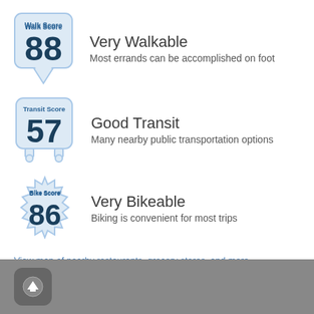[Figure (infographic): Walk Score badge showing score 88 with blue rounded rectangle and speech bubble tail]
Very Walkable
Most errands can be accomplished on foot
[Figure (infographic): Transit Score badge showing score 57 with blue bus-shaped icon]
Good Transit
Many nearby public transportation options
[Figure (infographic): Bike Score badge showing score 86 with blue gear/starburst shape]
Very Bikeable
Biking is convenient for most trips
View map of nearby restaurants, grocery stores, and more.
Get scores for your address